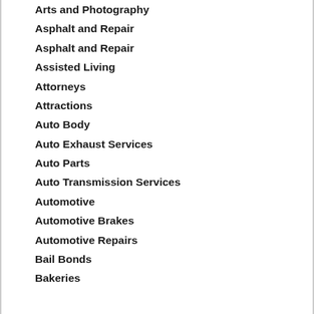Arts and Photography
Asphalt and Repair
Asphalt and Repair
Assisted Living
Attorneys
Attractions
Auto Body
Auto Exhaust Services
Auto Parts
Auto Transmission Services
Automotive
Automotive Brakes
Automotive Repairs
Bail Bonds
Bakeries